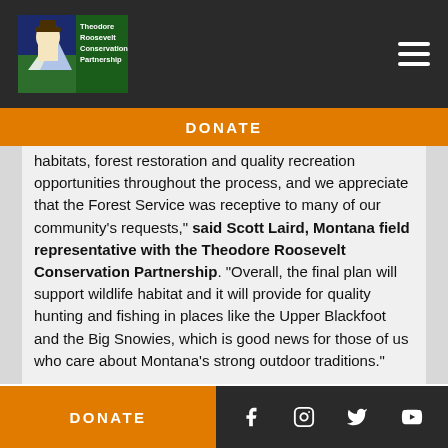Theodore Roosevelt Conservation Partnership — Navigation header with logo and menu
DONATE
habitats, forest restoration and quality recreation opportunities throughout the process, and we appreciate that the Forest Service was receptive to many of our community's requests," said Scott Laird, Montana field representative with the Theodore Roosevelt Conservation Partnership. "Overall, the final plan will support wildlife habitat and it will provide for quality hunting and fishing in places like the Upper Blackfoot and the Big Snowies, which is good news for those of us who care about Montana's strong outdoor traditions."
DONATE | Social media icons: Facebook, Instagram, Twitter, YouTube